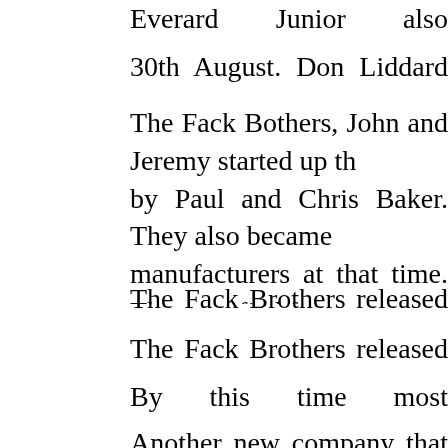Everard Junior also attended the more meeting ...
30th August. Don Liddard photographed Miles Ha...
The Fack Bothers, John and Jeremy started up th... by Paul and Chris Baker. They also became manufacturers at that time. They notified future ... would only be operating 4 day courses to the BH... pupil to have a much more thorough grounding in...
The Fack Brothers released information on the Al...
The Fack Brothers released their latest price list.
By this time most manufacturers in the UK had als...
Another new company that set up in Scotland d... Some of the gliders offered included, 'Firefly', 'Fir... 'Cirrus 3', 'Cirrus 5', 'Olympus', 'Dove' and 'Floate...
September. The #9 Edition Of 'Wings' was publish...
September. The BHGA using the September ed...